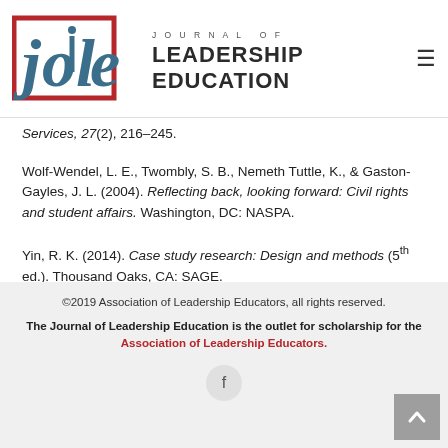Journal of Leadership Education
Services, 27(2), 216-245.
Wolf-Wendel, L. E., Twombly, S. B., Nemeth Tuttle, K., & Gaston-Gayles, J. L. (2004). Reflecting back, looking forward: Civil rights and student affairs. Washington, DC: NASPA.
Yin, R. K. (2014). Case study research: Design and methods (5th ed.). Thousand Oaks, CA: SAGE.
©2019 Association of Leadership Educators, all rights reserved. The Journal of Leadership Education is the outlet for scholarship for the Association of Leadership Educators.